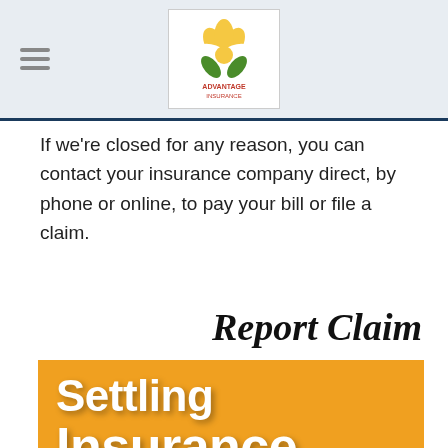[Navigation bar with hamburger menu and Advantage Insurance logo]
If we're closed for any reason, you can contact your insurance company direct, by phone or online, to pay your bill or file a claim.
Report Claim
[Figure (illustration): Orange background image with large white bold text reading 'Settling Insurance Claims Aft...' — a promotional or educational insurance graphic]